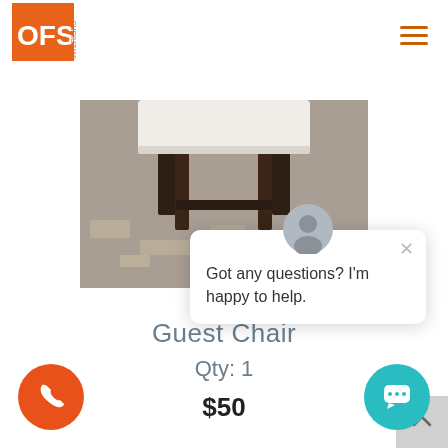[Figure (logo): OFS Interiors logo — orange square with white 'OFS' text and 'INTERIORS' written vertically]
[Figure (photo): Bottom portion of a wooden guest chair with white upholstered seat on a concrete floor]
Got any questions? I'm happy to help.
Guest Chair
Qty: 1
$50